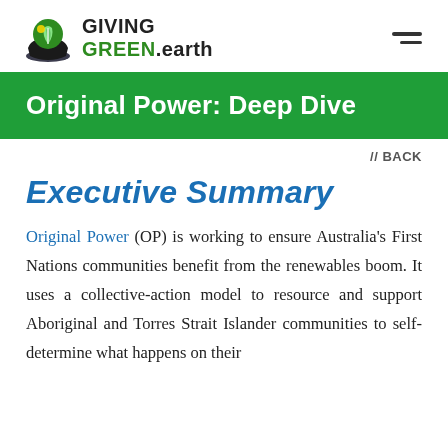GIVING GREEN.earth [logo] [hamburger menu]
Original Power: Deep Dive
// BACK
Executive Summary
Original Power (OP) is working to ensure Australia's First Nations communities benefit from the renewables boom. It uses a collective-action model to resource and support Aboriginal and Torres Strait Islander communities to self-determine what happens on their